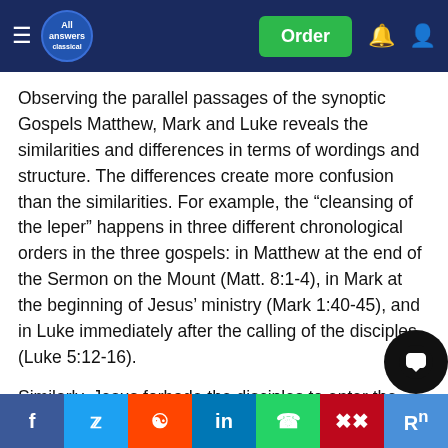All Answers Classical — Order
Observing the parallel passages of the synoptic Gospels Matthew, Mark and Luke reveals the similarities and differences in terms of wordings and structure. The differences create more confusion than the similarities. For example, the “cleansing of the leper” happens in three different chronological orders in the three gospels: in Matthew at the end of the Sermon on the Mount (Matt. 8:1-4), in Mark at the beginning of Jesus’ ministry (Mark 1:40-45), and in Luke immediately after the calling of the disciples (Luke 5:12-16).
Similarly, Jesus forbade the disciples to enter the gentile villages when he sent commissioned the disciples (M… 10:1-6) whereas Jesus again commissioned them to the nations (gentiles) (Matt. 28:19-20). These accounts portray a k… of … b… of Matthew. As Mcknight says, redaction criticism aims to